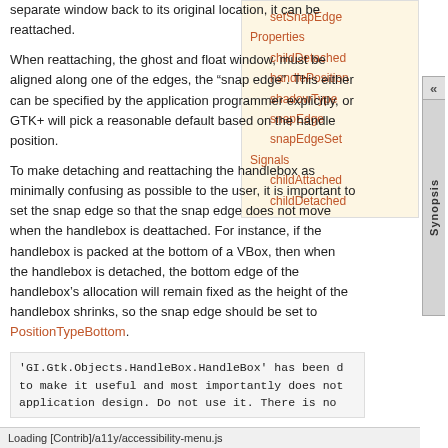separate window back to its original location, it can be reattached.
When reattaching, the ghost and float window, must be aligned along one of the edges, the “snap edge”. This either can be specified by the application programmer explicitly, or GTK+ will pick a reasonable default based on the handle position.
setSnapEdge
Properties
childDetached
handlePosition
shadowType
snapEdge
snapEdgeSet
Signals
childAttached
childDetached
To make detaching and reattaching the handlebox as minimally confusing as possible to the user, it is important to set the snap edge so that the snap edge does not move when the handlebox is deattached. For instance, if the handlebox is packed at the bottom of a VBox, then when the handlebox is detached, the bottom edge of the handlebox’s allocation will remain fixed as the height of the handlebox shrinks, so the snap edge should be set to PositionTypeBottom.
'GI.Gtk.Objects.HandleBox.HandleBox' has been d to make it useful and most importantly does not application design. Do not use it. There is no
Loading [Contrib]/a11y/accessibility-menu.js